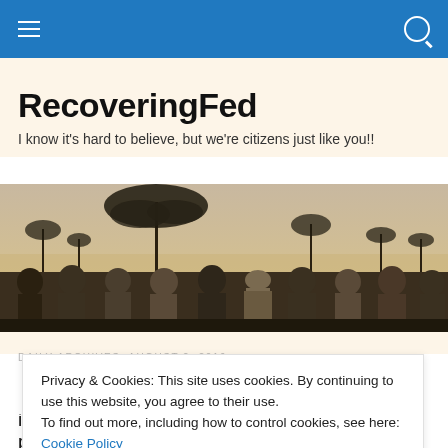RecoveringFed — navigation bar with hamburger menu and search icon
RecoveringFed
I know it's hard to believe, but we're citizens just like you!!
[Figure (photo): Panoramic photo of a group of people seen from behind, standing in an African savanna landscape with acacia trees at dusk/dawn.]
DAILY ARCHIVES: AUGUST 2, 2019
Privacy & Cookies: This site uses cookies. By continuing to use this website, you agree to their use.
To find out more, including how to control cookies, see here: Cookie Policy
it's been more than a month since I wrote a blog post.